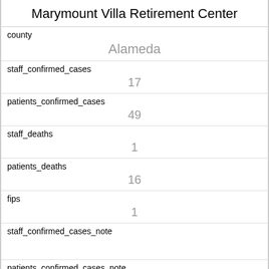Marymount Villa Retirement Center
| field | value |
| --- | --- |
| county | Alameda |
| staff_confirmed_cases | 17 |
| patients_confirmed_cases | 49 |
| staff_deaths | 1 |
| patients_deaths | 16 |
| fips | 1 |
| staff_confirmed_cases_note |  |
| patients_confirmed_cases_note |  |
| staff_deaths_note | <11 |
| patients_deaths_note |  |